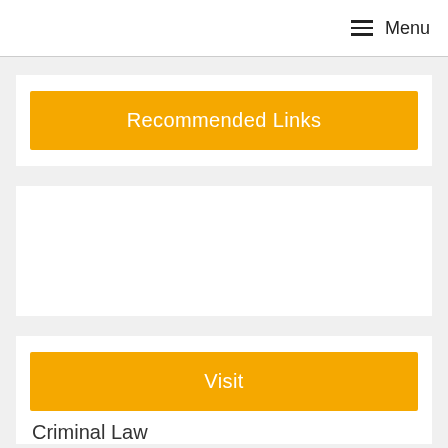≡ Menu
Recommended Links
Visit
Criminal Law